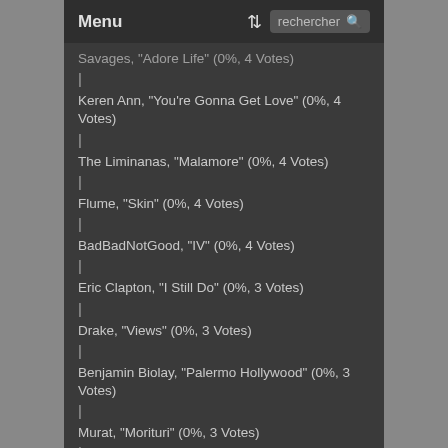Menu | rechercher
Savages, "Adore Life" (0%, 4 Votes)
Keren Ann, "You're Gonna Get Love" (0%, 4 Votes)
The Liminanas, "Malamore" (0%, 4 Votes)
Flume, "Skin" (0%, 4 Votes)
BadBadNotGood, "IV" (0%, 4 Votes)
Eric Clapton, "I Still Do" (0%, 3 Votes)
Drake, "Views" (0%, 3 Votes)
Benjamin Biolay, "Palermo Hollywood" (0%, 3 Votes)
Murat, "Morituri" (0%, 3 Votes)
Skunk Anansie, "Anarchytecture" (0%, 3 Votes)
Tindersticks, "The Waiting Room" (0%, 3 Votes)
André Brasseur, "Lost Gem from the 70's" (0%, 3 Votes)
Ray LaMontagne, "Ouroboros" (0%, 3 Votes)